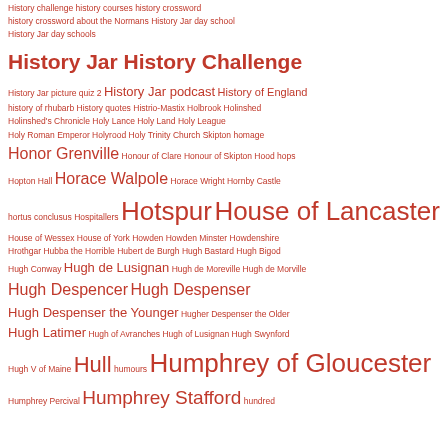History challenge history courses history crossword history crossword about the Normans History Jar day school History Jar day schools
History Jar History Challenge
History Jar picture quiz 2 History Jar podcast History of England history of rhubarb History quotes Histrio-Mastix Holbrook Holinshed Holinshed's Chronicle Holy Lance Holy Land Holy League Holy Roman Emperor Holyrood Holy Trinity Church Skipton homage Honor Grenville Honour of Clare Honour of Skipton Hood hops Hopton Hall Horace Walpole Horace Wright Hornby Castle hortus conclusus Hospitallers Hotspur House of Lancaster House of Wessex House of York Howden Howden Minster Howdenshire Hrothgar Hubba the Horrible Hubert de Burgh Hugh Bastard Hugh Bigod Hugh Conway Hugh de Lusignan Hugh de Moreville Hugh de Morville Hugh Despencer Hugh Despenser Hugh Despenser the Younger Hugher Despenser the Older Hugh Latimer Hugh of Avranches Hugh of Lusignan Hugh Swynford Hugh V of Maine Hull humours Humphrey of Gloucester Humphrey Percival Humphrey Stafford hundred